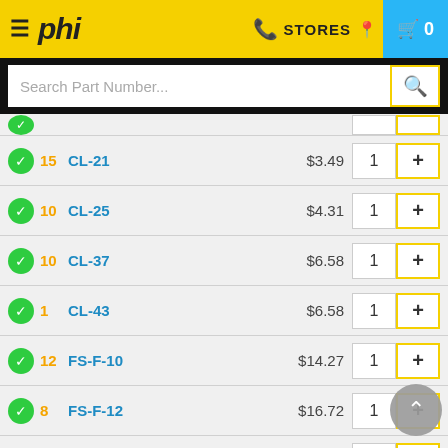phi — STORES 0
Search Part Number...
| Stock | Part Number | Price | Qty | Add |
| --- | --- | --- | --- | --- |
| 15 | CL-21 | $3.49 | 1 | + |
| 10 | CL-25 | $4.31 | 1 | + |
| 10 | CL-37 | $6.58 | 1 | + |
| 1 | CL-43 | $6.58 | 1 | + |
| 12 | FS-F-10 | $14.27 | 1 | + |
| 8 | FS-F-12 | $16.72 | 1 | + |
| 15 | FS-F-18 | $24.13 | 1 | + |